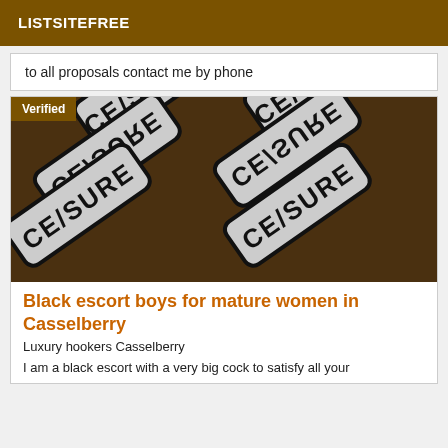LISTSITEFREE
to all proposals contact me by phone
[Figure (photo): Censored image with multiple overlapping signs reading CENSURE on a dark background, with a Verified badge overlay in the top-left corner]
Black escort boys for mature women in Casselberry
Luxury hookers Casselberry
I am a black escort with a very big cock to satisfy all your